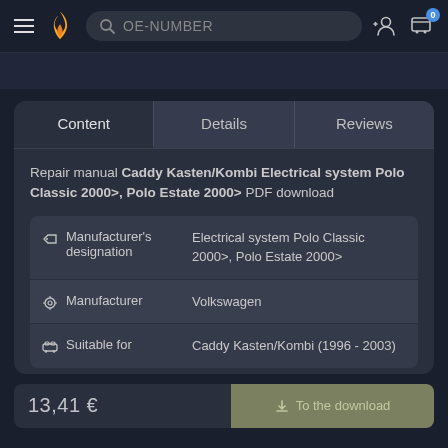[Figure (screenshot): Navigation bar with hamburger menu, flame logo, OE-NUMBER search bar, user icon, and cart icon with badge 0]
Repair manual Caddy Kasten/Kombi Electrical system Polo Classic 2000>, Polo Estate 2000> PDF download
|  | Label | Value |
| --- | --- | --- |
| tag-icon | Manufacturer's designation | Electrical system Polo Classic 2000>, Polo Estate 2000> |
| gear-icon | Manufacturer | Volkswagen |
| car-icon | Suitable for | Caddy Kasten/Kombi (1996 - 2003) |
13,41 €
To the download